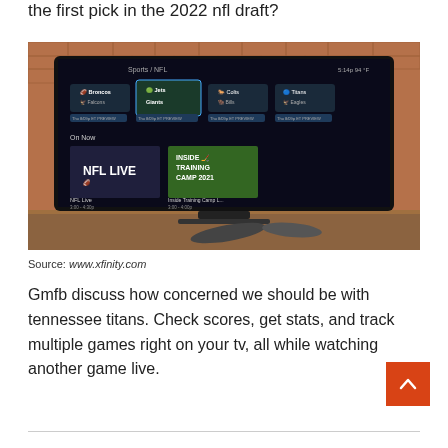the first pick in the 2022 nfl draft?
[Figure (screenshot): Xfinity TV interface showing NFL channel list with teams (Broncos, Jets, Colts, Titans, Falcons, Giants, Bills, Eagles) and 'On Now' section with NFL Live and Inside Training Camp thumbnails. TV is mounted on a wooden surface in front of a brick wall with two remote controls in front.]
Source: www.xfinity.com
Gmfb discuss how concerned we should be with tennessee titans. Check scores, get stats, and track multiple games right on your tv, all while watching another game live.